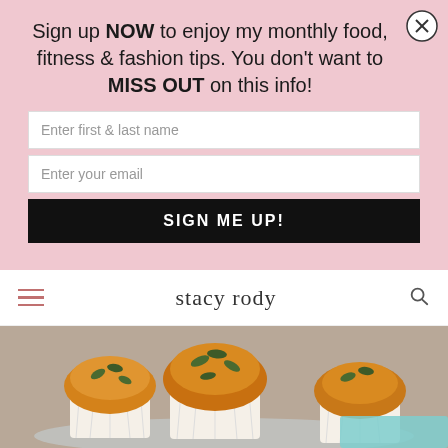Sign up NOW to enjoy my monthly food, fitness & fashion tips. You don't want to MISS OUT on this info!
Enter first & last name
Enter your email
SIGN ME UP!
[Figure (logo): Stacy Rody cursive script brand logo in website navigation bar]
[Figure (photo): Pumpkin muffins with pumpkin seeds on top, displayed in white cupcake liners on a glass cake stand]